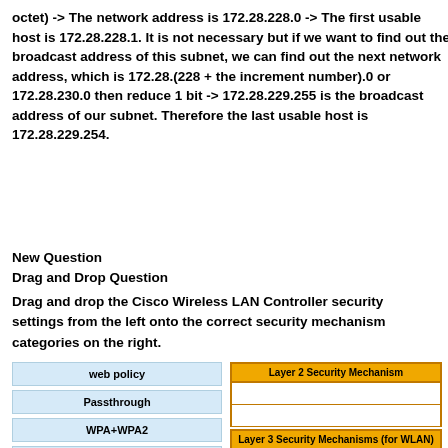octet) -> The network address is 172.28.228.0 -> The first usable host is 172.28.228.1. It is not necessary but if we want to find out the broadcast address of this subnet, we can find out the next network address, which is 172.28.(228 + the increment number).0 or 172.28.230.0 then reduce 1 bit -> 172.28.229.255 is the broadcast address of our subnet. Therefore the last usable host is 172.28.229.254.
New Question
Drag and Drop Question
Drag and drop the Cisco Wireless LAN Controller security settings from the left onto the correct security mechanism categories on the right.
[Figure (infographic): Drag and drop interface with left column items: web policy, Passthrough, WPA+WPA2, 802.1X in light blue boxes; right column has two sections: 'Layer 2 Security Mechanism' (orange header with two empty white slots) and 'Layer 3 Security Mechanisms (for WLAN)' (orange header with one empty white slot visible)]